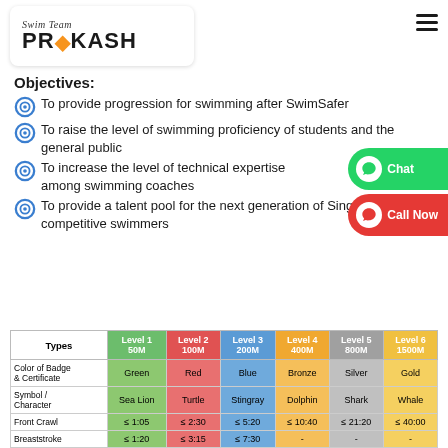[Figure (logo): Swim Team Prakash logo with swimmer icon]
Objectives:
To provide progression for swimming after SwimSafer
To raise the level of swimming proficiency of students and the general public
To increase the level of technical expertise among swimming coaches
To provide a talent pool for the next generation of Singapore competitive swimmers
| Types | Level 1 50M | Level 2 100M | Level 3 200M | Level 4 400M | Level 5 800M | Level 6 1500M |
| --- | --- | --- | --- | --- | --- | --- |
| Color of Badge & Certificate | Green | Red | Blue | Bronze | Silver | Gold |
| Symbol / Character | Sea Lion | Turtle | Stingray | Dolphin | Shark | Whale |
| Front Crawl | ≤ 1:05 | ≤ 2:30 | ≤ 5:20 | ≤ 10:40 | ≤ 21:20 | ≤ 40:00 |
| Breaststroke | ≤ 1:20 | ≤ 3:15 | ≤ 7:30 | - | - | - |